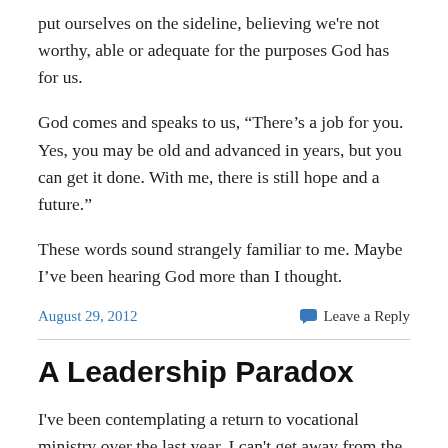put ourselves on the sideline, believing we're not worthy, able or adequate for the purposes God has for us.
God comes and speaks to us, “There’s a job for you. Yes, you may be old and advanced in years, but you can get it done. With me, there is still hope and a future.”
These words sound strangely familiar to me. Maybe I’ve been hearing God more than I thought.
August 29, 2012
Leave a Reply
A Leadership Paradox
I've been contemplating a return to vocational ministry over the last year. I can't get away from the reality that my